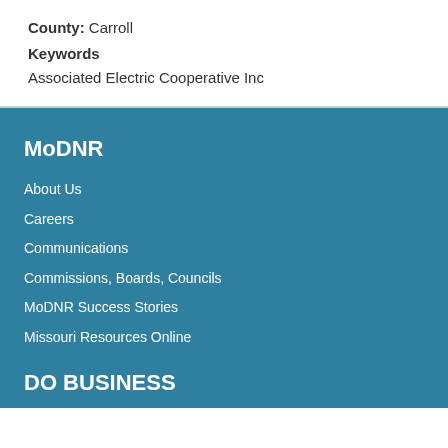County: Carroll
Keywords
Associated Electric Cooperative Inc
MoDNR
About Us
Careers
Communications
Commissions, Boards, Councils
MoDNR Success Stories
Missouri Resources Online
DO BUSINESS
Compliance Assistance
Certifications and Trainings
Financial Opportunities